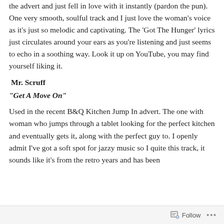the advert and just fell in love with it instantly (pardon the pun). One very smooth, soulful track and I just love the woman's voice as it's just so melodic and captivating. The 'Got The Hunger' lyrics just circulates around your ears as you're listening and just seems to echo in a soothing way. Look it up on YouTube, you may find yourself liking it.
Mr. Scruff
"Get A Move On"
Used in the recent B&Q Kitchen Jump In advert. The one with woman who jumps through a tablet looking for the perfect kitchen and eventually gets it, along with the perfect guy to. I openly admit I've got a soft spot for jazzy music so I quite this track, it sounds like it's from the retro years and has been
Follow ···